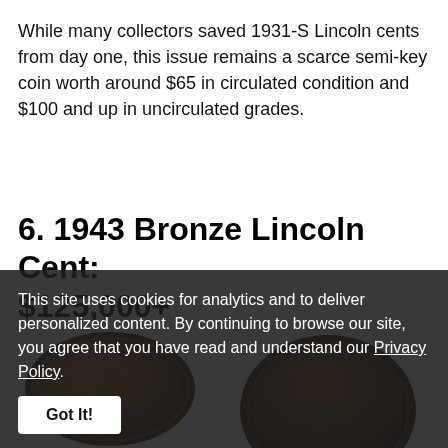While many collectors saved 1931-S Lincoln cents from day one, this issue remains a scarce semi-key coin worth around $65 in circulated condition and $100 and up in uncirculated grades.
6. 1943 Bronze Lincoln Cent: $125,000+
[Figure (photo): Two bronze Lincoln cents shown side by side — obverse (left) and reverse (right) — photographed against a dark background.]
This site uses cookies for analytics and to deliver personalized content. By continuing to browse our site, you agree that you have read and understand our Privacy Policy.